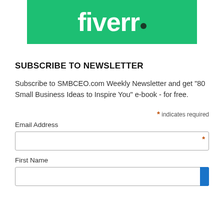[Figure (logo): Fiverr logo — white bold text 'fiverr.' with dark green dot on green background banner]
SUBSCRIBE TO NEWSLETTER
Subscribe to SMBCEO.com Weekly Newsletter and get "80 Small Business Ideas to Inspire You" e-book - for free.
* indicates required
Email Address
First Name